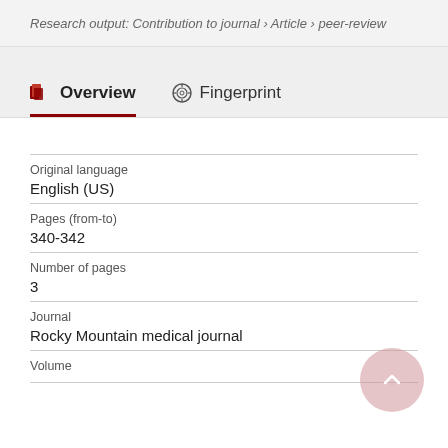Research output: Contribution to journal › Article › peer-review
Overview   Fingerprint
| Field | Value |
| --- | --- |
| Original language | English (US) |
| Pages (from-to) | 340-342 |
| Number of pages | 3 |
| Journal | Rocky Mountain medical journal |
| Volume |  |